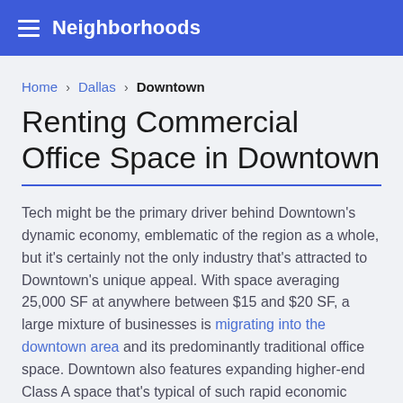Neighborhoods
Home > Dallas > Downtown
Renting Commercial Office Space in Downtown
Tech might be the primary driver behind Downtown's dynamic economy, emblematic of the region as a whole, but it's certainly not the only industry that's attracted to Downtown's unique appeal. With space averaging 25,000 SF at anywhere between $15 and $20 SF, a large mixture of businesses is migrating into the downtown area and its predominantly traditional office space. Downtown also features expanding higher-end Class A space that's typical of such rapid economic growth. Law firms, once a substantial portion of the business population, are still